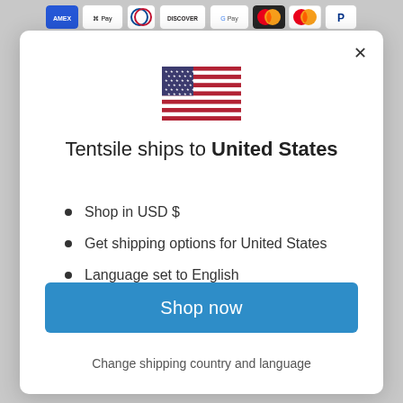[Figure (screenshot): Payment method icons strip at top: Amex, Apple Pay, Diners Club, Discover, Google Pay, Mastercard (two variants), PayPal]
[Figure (illustration): United States flag]
Tentsile ships to United States
Shop in USD $
Get shipping options for United States
Language set to English
Shop now
Change shipping country and language